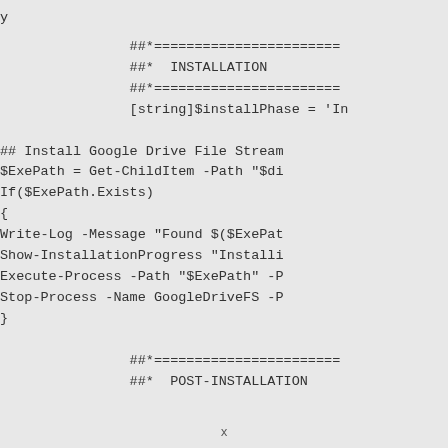y
[Figure (screenshot): PowerShell script showing INSTALLATION and POST-INSTALLATION sections with code including ##*===, ##* INSTALLATION, [string]$installPhase = 'In, ## Install Google Drive File Stream, $ExePath = Get-ChildItem -Path "$di, If($ExePath.Exists), {, Write-Log -Message "Found $($ExePat, Show-InstallationProgress "Installi, Execute-Process -Path "$ExePath" -P, Stop-Process -Name GoogleDriveFS -P, }, ##*===, ##* POST-INSTALLATION]
x